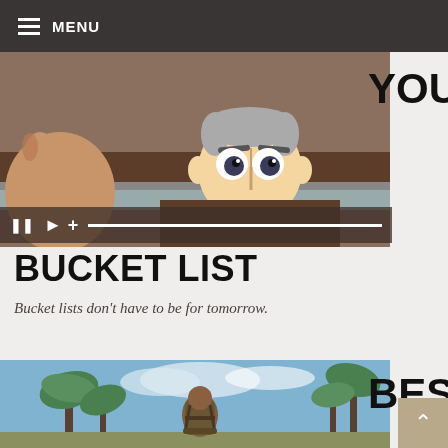MENU
[Figure (screenshot): Video thumbnail showing an animated elderly cartoon character peeking over a wooden surface, with video player controls at the bottom]
YOUR BUCKET LIST
Bucket lists don't have to be for tomorrow.
[Figure (photo): Photo of a traveler with a backpack viewed from behind, surrounded by tropical palm trees under a blue sky]
BEST